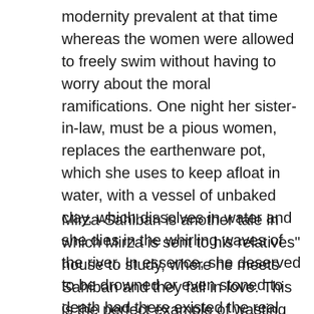modernity prevalent at that time whereas the women were allowed to freely swim without having to worry about the moral ramifications. One night her sister-in-law, must be a pious women, replaces the earthenware pot, which she uses to keep afloat in water, with a vessel of unbaked clay, which dissolves in water and she dies in the whirling waves of the river. In essence, she deserved to be drowned or even stoned to death had there existed the real Shariah.
Mirza-Sahiban is another tale in which Mirza is sent to his relatives" house to study, where he meets Sahiban and they fall in love. This is the perfect example of wasting parent's hard earned money. He was sent to study but instead started romanticism. When, later in life, Sahiban is to be wedded, Mirza sahib arrives during Sahiban"s mehndi ceremony